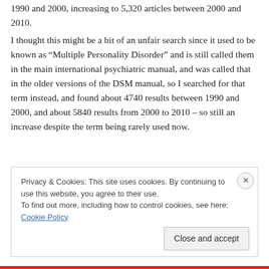1990 and 2000, increasing to 5,320 articles between 2000 and 2010.
I thought this might be a bit of an unfair search since it used to be known as “Multiple Personality Disorder” and is still called them in the main international psychiatric manual, and was called that in the older versions of the DSM manual, so I searched for that term instead, and found about 4740 results between 1990 and 2000, and about 5840 results from 2000 to 2010 – so still an increase despite the term being rarely used now.
Privacy & Cookies: This site uses cookies. By continuing to use this website, you agree to their use.
To find out more, including how to control cookies, see here: Cookie Policy